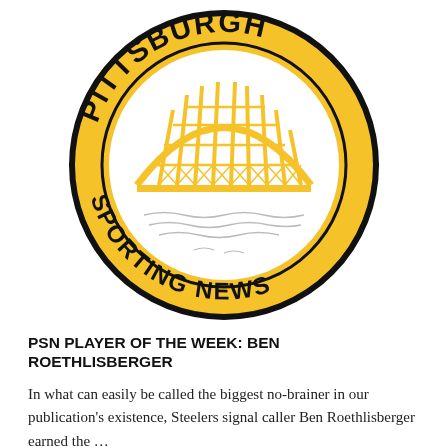[Figure (logo): Pittsburgh Sporting News circular logo with gold circle, bridge illustration in center, 'PITTSBURGH' arced along the top and 'SPORTING NEWS' arced along the bottom in bold black serif letters.]
PSN PLAYER OF THE WEEK: BEN ROETHLISBERGER
In what can easily be called the biggest no-brainer in our publication's existence, Steelers signal caller Ben Roethlisberger earned the …